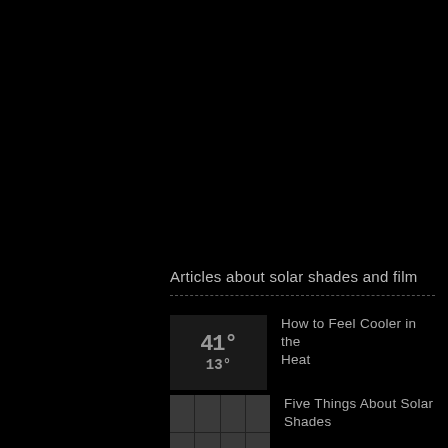Articles about solar shades and film
[Figure (photo): Digital thermometer display showing 41 degrees and 13 degrees]
How to Feel Cooler in the Heat
[Figure (photo): Grid of solar shade images showing multiple window shades]
Five Things About Solar Shades